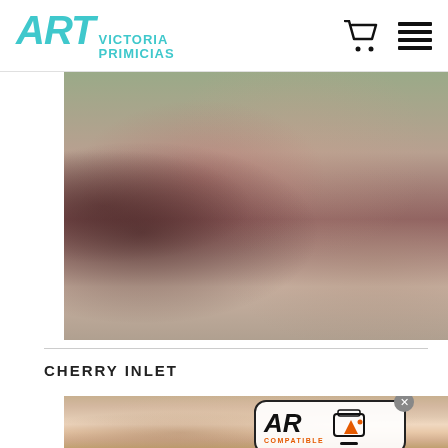ART VICTORIA PRIMICIAS
[Figure (photo): Abstract textured painting with muted pinks, grays, greens and dark browns, horizontal landscape format]
CHERRY INLET
[Figure (photo): Abstract textured painting with warm pinks and sandy earth tones, with AR Compatible badge overlay]